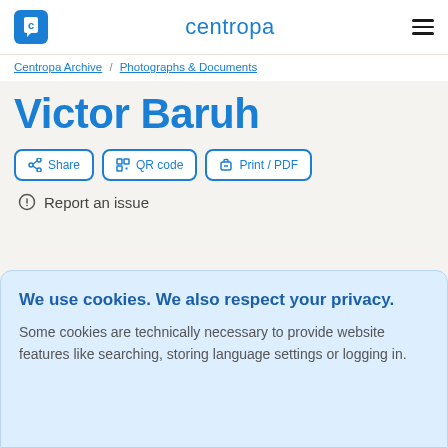centropa
Centropa Archive / Photographs & Documents
Victor Baruh
Share   QR code   Print / PDF
Report an issue
We use cookies. We also respect your privacy.
Some cookies are technically necessary to provide website features like searching, storing language settings or logging in.